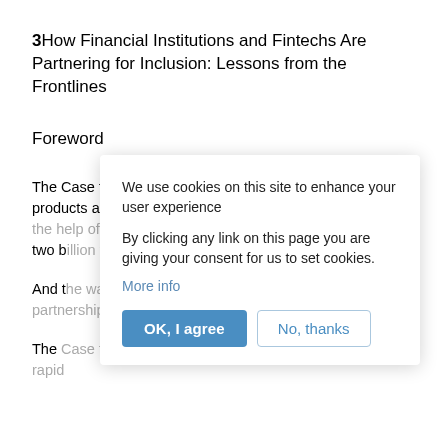3How Financial Institutions and Fintechs Are Partnering for Inclusion: Lessons from the Frontlines
Foreword
The Case for Inclusion Inclusion is not just about new products and new distribution. It's about reimagining, with the help of partners, the the the the the the the the the two billion financially underserved people of the world.
And the way to unlock value for these customers is through partnerships.
The Case for Interoperability in Fintech There has been a rapid